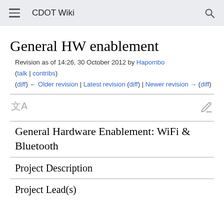CDOT Wiki
General HW enablement
Revision as of 14:26, 30 October 2012 by Hapombo (talk | contribs)
(diff) ← Older revision | Latest revision (diff) | Newer revision → (diff)
General Hardware Enablement: WiFi & Bluetooth
Project Description
Project Lead(s)